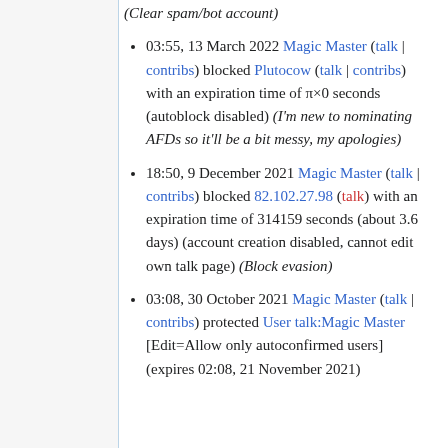(Clear spam/bot account)
03:55, 13 March 2022 Magic Master (talk | contribs) blocked Plutocow (talk | contribs) with an expiration time of π×0 seconds (autoblock disabled) (I'm new to nominating AFDs so it'll be a bit messy, my apologies)
18:50, 9 December 2021 Magic Master (talk | contribs) blocked 82.102.27.98 (talk) with an expiration time of 314159 seconds (about 3.6 days) (account creation disabled, cannot edit own talk page) (Block evasion)
03:08, 30 October 2021 Magic Master (talk | contribs) protected User talk:Magic Master [Edit=Allow only autoconfirmed users] (expires 02:08, 21 November 2021)